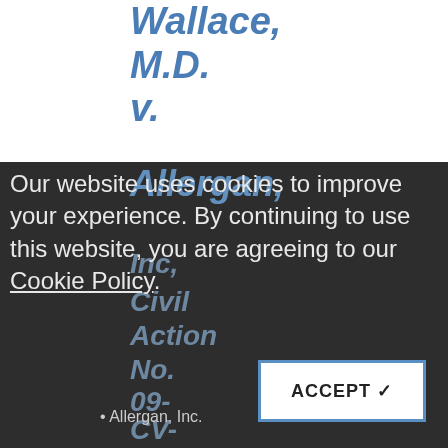Wallace, M.D. v.
Allergan, Inc.
Civil Action No. 99-cv-0...
Our website uses cookies to improve your experience. By continuing to use this website, you are agreeing to our Cookie Policy.
ACCEPT ✔
Allergan, Inc.